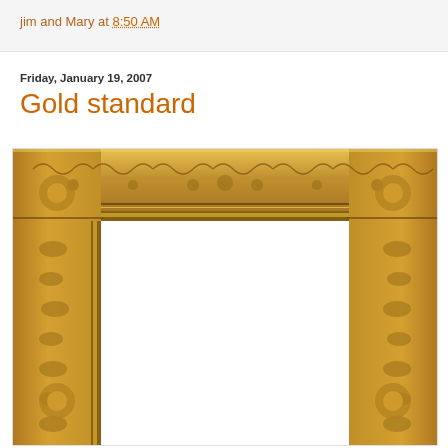jim and Mary at 8:50 AM
Friday, January 19, 2007
Gold standard
[Figure (photo): An ornate gold picture frame with intricate carved floral and scroll decorations, photographed against a white background. The frame is empty showing a white interior.]